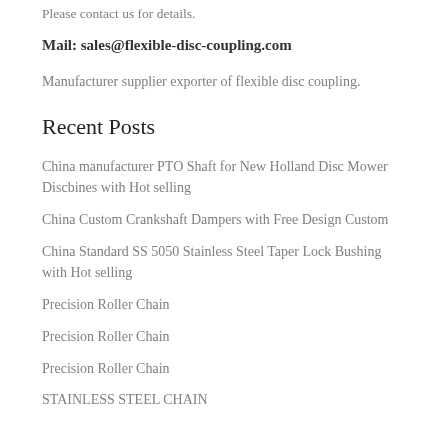Please contact us for details.
Mail: sales@flexible-disc-coupling.com
Manufacturer supplier exporter of flexible disc coupling.
Recent Posts
China manufacturer PTO Shaft for New Holland Disc Mower Discbines with Hot selling
China Custom Crankshaft Dampers with Free Design Custom
China Standard SS 5050 Stainless Steel Taper Lock Bushing with Hot selling
Precision Roller Chain
Precision Roller Chain
Precision Roller Chain
STAINLESS STEEL CHAIN